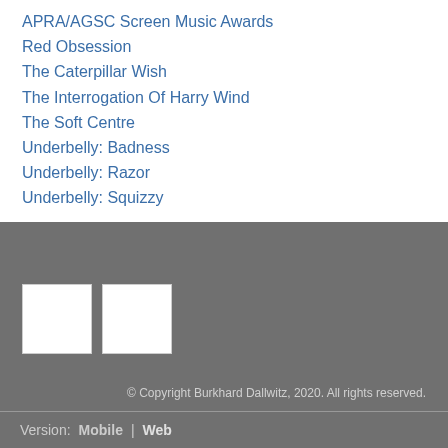APRA/AGSC Screen Music Awards
Red Obsession
The Caterpillar Wish
The Interrogation Of Harry Wind
The Soft Centre
Underbelly: Badness
Underbelly: Razor
Underbelly: Squizzy
[Figure (other): Two white square image placeholders on gray background]
© Copyright Burkhard Dallwitz, 2020. All rights reserved.
Version:  Mobile  |  Web